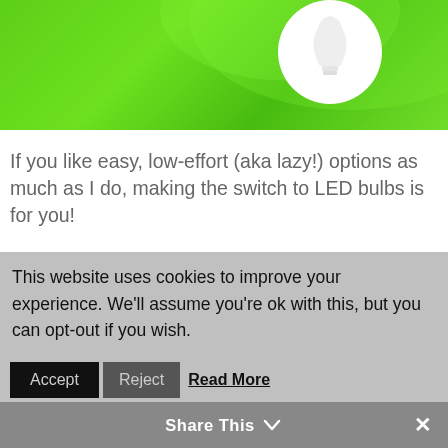[Figure (illustration): Green background image with a white glowing light bulb illustration in the upper right area]
If you like easy, low-effort (aka lazy!) options as much as I do, making the switch to LED bulbs is for you!
In this post, I'll give you the scoop on why you should switch to LED bulbs and, as promised, a super EASY way to do it!
Electricity Use In Your Home
According to the US Energy Information
This website uses cookies to improve your experience. We'll assume you're ok with this, but you can opt-out if you wish.
Accept  Reject  Read More
Share This